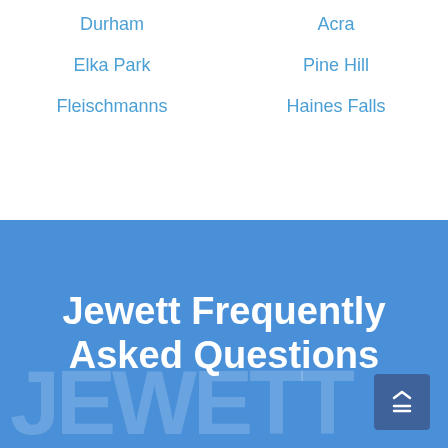Durham
Acra
Elka Park
Pine Hill
Fleischmanns
Haines Falls
Jewett Frequently Asked Questions